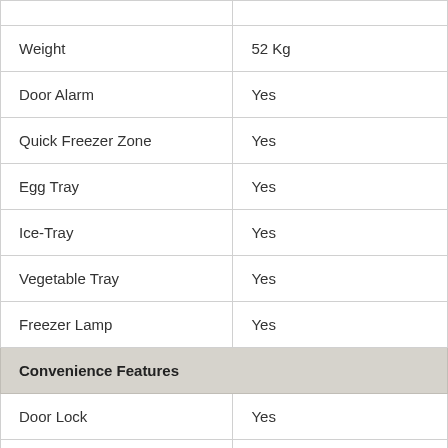| Feature | Value |
| --- | --- |
| Weight | 52 Kg |
| Door Alarm | Yes |
| Quick Freezer Zone | Yes |
| Egg Tray | Yes |
| Ice-Tray | Yes |
| Vegetable Tray | Yes |
| Freezer Lamp | Yes |
| Convenience Features |  |
| Door Lock | Yes |
| Deodorizer | Yes |
| Performance Features |  |